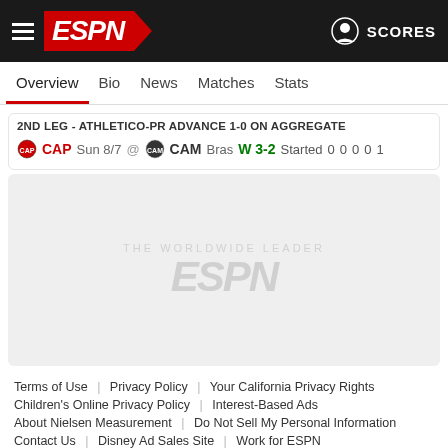ESPN — SCORES
Overview | Bio | News | Matches | Stats
2ND LEG - ATHLETICO-PR ADVANCE 1-0 ON AGGREGATE
CAP  Sun 8/7  @  CAM  Bras  W 3-2  Started  0  0  0  0  1
[Figure (logo): ESPN watermark logo in grey on light grey background content area]
Terms of Use | Privacy Policy | Your California Privacy Rights | Children's Online Privacy Policy | Interest-Based Ads | About Nielsen Measurement | Do Not Sell My Personal Information | Contact Us | Disney Ad Sales Site | Work for ESPN
Copyright: © ESPN Enterprises, Inc. All rights reserved.